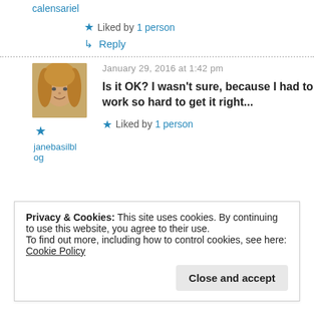calensariel
★ Liked by 1 person
↳ Reply
January 29, 2016 at 1:42 pm
Is it OK? I wasn't sure, because I had to work so hard to get it right...
★ Liked by 1 person
janebasilblog
Privacy & Cookies: This site uses cookies. By continuing to use this website, you agree to their use.
To find out more, including how to control cookies, see here: Cookie Policy
Close and accept